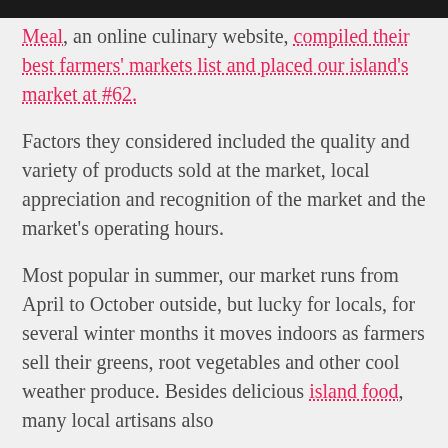Meal, an online culinary website, compiled their best farmers' markets list and placed our island's market at #62.
Factors they considered included the quality and variety of products sold at the market, local appreciation and recognition of the market and the market's operating hours.
Most popular in summer, our market runs from April to October outside, but lucky for locals, for several winter months it moves indoors as farmers sell their greens, root vegetables and other cool weather produce. Besides delicious island food, many local artisans also